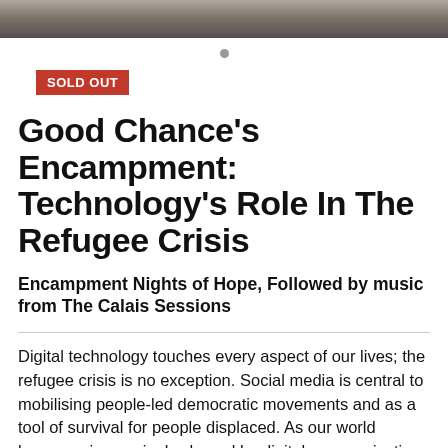[Figure (photo): Top portion of a photograph showing people in what appears to be a camp or outdoor setting, partially cropped at the top of the page.]
SOLD OUT
Good Chance's Encampment: Technology's Role In The Refugee Crisis
Encampment Nights of Hope, Followed by music from The Calais Sessions
Digital technology touches every aspect of our lives; the refugee crisis is no exception. Social media is central to mobilising people-led democratic movements and as a tool of survival for people displaced. As our world becomes increasingly shaped by digital communication, transaction and interaction, those who do not have access to the same